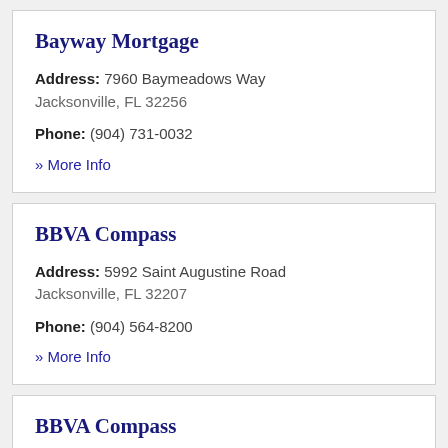Bayway Mortgage
Address: 7960 Baymeadows Way
Jacksonville, FL 32256
Phone: (904) 731-0032
» More Info
BBVA Compass
Address: 5992 Saint Augustine Road
Jacksonville, FL 32207
Phone: (904) 564-8200
» More Info
BBVA Compass